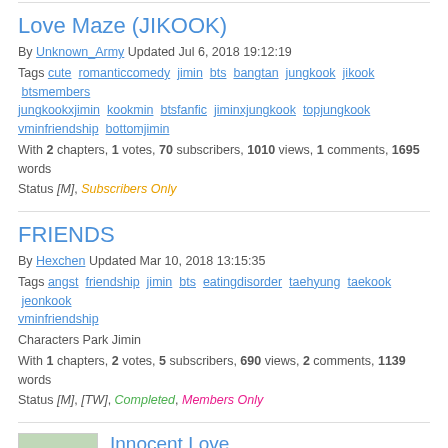Love Maze (JIKOOK)
By Unknown_Army Updated Jul 6, 2018 19:12:19
Tags cute romanticcomedy jimin bts bangtan jungkook jikook btsmembers jungkookxjimin kookmin btsfanfic jiminxjungkook topjungkook vminfriendship bottomjimin
With 2 chapters, 1 votes, 70 subscribers, 1010 views, 1 comments, 1695 words
Status [M], Subscribers Only
FRIENDS
By Hexchen Updated Mar 10, 2018 13:15:35
Tags angst friendship jimin bts eatingdisorder taehyung taekook jeonkook vminfriendship
Characters Park Jimin
With 1 chapters, 2 votes, 5 subscribers, 690 views, 2 comments, 1139 words
Status [M], [TW], Completed, Members Only
[Figure (illustration): Book cover thumbnail for Innocent Love showing two figures in a field]
Innocent Love
By ShippingTrashlovers Updated Feb 22, 2018 2:25:00
Characters Jeon Jungkook, Park Jimin, Goo Hara Lalisa Manoban,